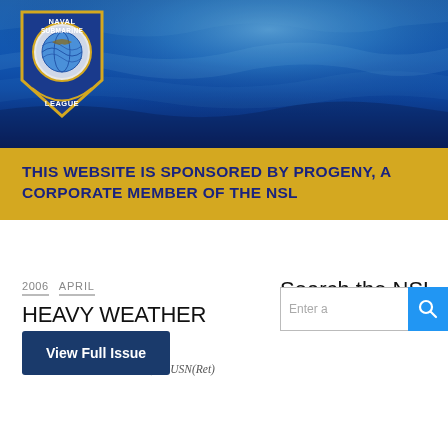[Figure (logo): Naval Submarine League shield logo with eagle and globe emblem, blue and gold colors, text reading NAVAL SUBMARINE LEAGUE]
[Figure (photo): Underwater ocean scene with blue water and light rays, serving as header banner background]
THIS WEBSITE IS SPONSORED BY PROGENY, A CORPORATE MEMBER OF THE NSL
2006  APRIL
HEAVY WEATHER AHEAD
Rear Admiral W. J. Holland, Jr. USN(Ret)
View Full Issue
Search the NSL Archive
Enter a